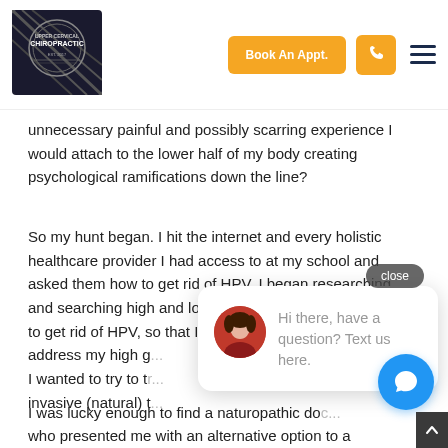[Figure (logo): Upper Cervical Chiropractic logo - circular emblem on dark background]
Book An Appt.
unnecessary painful and possibly scarring experience I would attach to the lower half of my body creating psychological ramifications down the line?
So my hunt began. I hit the internet and every holistic healthcare provider I had access to at my school and asked them how to get rid of HPV. I began researching and searching high and low for any alternative options how to get rid of HPV, so that I could address my high g... I wanted to try to tr... invasive (natural) t...
Hi there, have a question? Text us here.
I was lucky enough to find a naturopathic do... who presented me with an alternative option to a